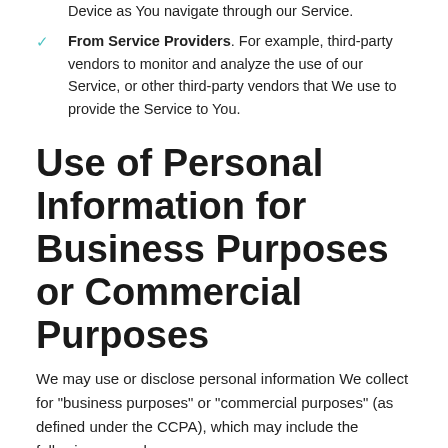From Service Providers. For example, third-party vendors to monitor and analyze the use of our Service, or other third-party vendors that We use to provide the Service to You.
Use of Personal Information for Business Purposes or Commercial Purposes
We may use or disclose personal information We collect for "business purposes" or "commercial purposes" (as defined under the CCPA), which may include the following examples:
To operate our Service and provide You with our